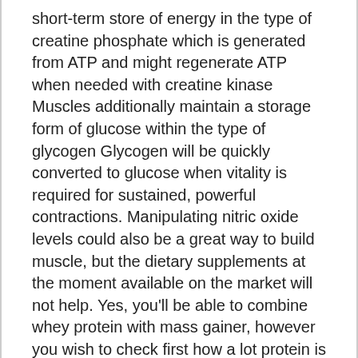short-term store of energy in the type of creatine phosphate which is generated from ATP and might regenerate ATP when needed with creatine kinase Muscles additionally maintain a storage form of glucose within the type of glycogen Glycogen will be quickly converted to glucose when vitality is required for sustained, powerful contractions. Manipulating nitric oxide levels could also be a great way to build muscle, but the dietary supplements at the moment available on the market will not help. Yes, you'll be able to combine whey protein with mass gainer, however you wish to check first how a lot protein is included within the mass gainer. Mass & Weight Gainers are produced, packaged and sold in the identical method as most different dietary supplements, but in actuality they are merely a convenient means of consuming extra energy. Base runs should be performed at a pace that is comfortable sufficient to hold on a conversation, not gasping for air (psst… now's a great time to encourage a friend to join in on your running plan for weight reduction!). As a result of most mass gainers